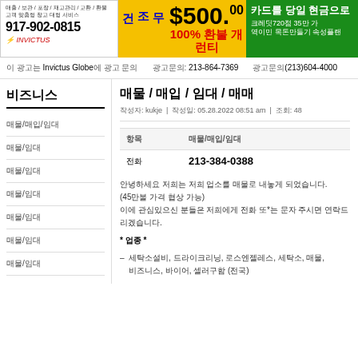[Figure (infographic): Advertisement banner 1: Invictus business services, phone 917-902-0815]
[Figure (infographic): Advertisement banner 2: 무조건 $500.00 100% 환불 개런티]
[Figure (infographic): Advertisement banner 3: 카드를 당일 현금으로 크레딧720점 35만 가 역이민 목돈만들기 속성플랜]
이 광고는 Invictus Globe에 광고 문의 | 광고문의: 213-864-7369 | 광고문의(213)604-4000
비즈니스
매물/매입/임대
매물/임대
매물/임대
매물/임대
매물/임대
매물/임대
매물/임대
매물 / 매입 / 임대 / 매매
작성자: kukje  |  작성일: 05.28.2022 08:51 am  |  조회: 48
| 항목 | 매물/매입/임대 |
| --- | --- |
| 전화 | 213-384-0388 |
안녕하세요 저희는 저희 업소를 매물로 내놓게 되었습니다.
(45만불 가격 협상 가능)
이에 관심있으신 분들은 저희에게 전화 또*는 문자 주시면 연락드리겠습니다.
* 업종 *
세탁소설비, 드라이크리닝, 로스엔젤레스, 세탁소, 매물, 비즈니스, 바이어, 셀러구함 (전국)